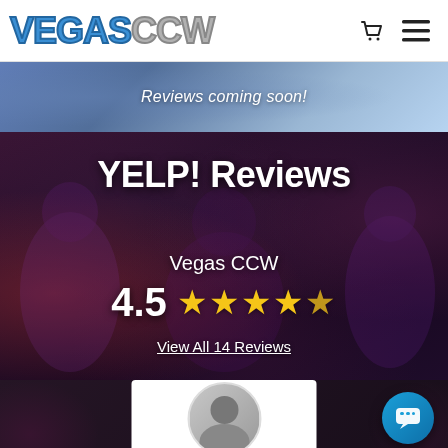VEGASCCW
Reviews coming soon!
YELP! Reviews
Vegas CCW
4.5 ★★★★★
View All 14 Reviews
[Figure (photo): Group photo of people in a dark/purple toned background overlaid on YELP! Reviews section]
[Figure (photo): Bottom partial view with white card showing person avatar/photo, and teal chat bubble button in lower right corner]